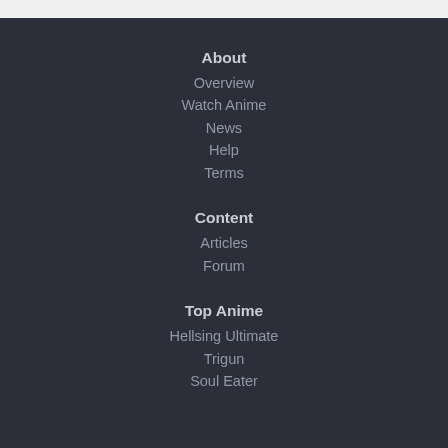About
Overview
Watch Anime
News
Help
Terms
Content
Articles
Forum
Top Anime
Hellsing Ultimate
Trigun
Soul Eater